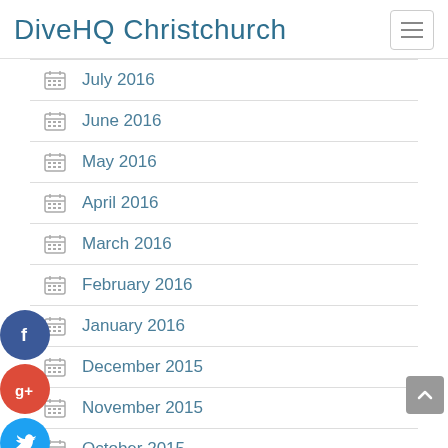DiveHQ Christchurch
July 2016
June 2016
May 2016
April 2016
March 2016
February 2016
January 2016
December 2015
November 2015
October 2015
September 2015
August 2015